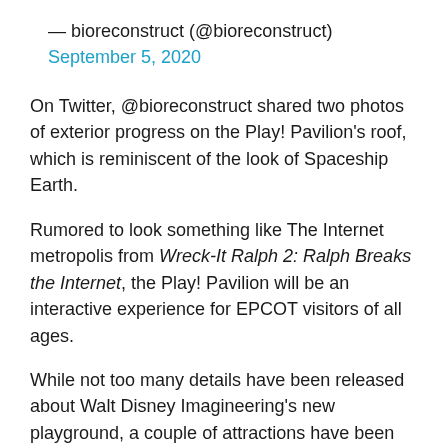— bioreconstruct (@bioreconstruct) September 5, 2020
On Twitter, @bioreconstruct shared two photos of exterior progress on the Play! Pavilion's roof, which is reminiscent of the look of Spaceship Earth.
Rumored to look something like The Internet metropolis from Wreck-It Ralph 2: Ralph Breaks the Internet, the Play! Pavilion will be an interactive experience for EPCOT visitors of all ages.
While not too many details have been released about Walt Disney Imagineering's new playground, a couple of attractions have been confirmed: Hotel Heist, an interactive game featuring Nick Wilde and Judy Hopps from Zootopia and Animation Academy, in which The Incredibles' Edna Mode will teach Guests to draw various Disney characters. A monorail attraction is also